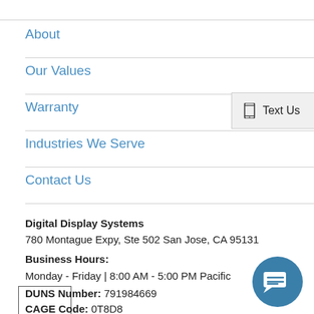About
Our Values
Warranty
Industries We Serve
Contact Us
Digital Display Systems
780 Montague Expy, Ste 502 San Jose, CA 95131
Business Hours:
Monday - Friday | 8:00 AM - 5:00 PM Pacific
DUNS Number: 791984669
CAGE Code: 0T8D8